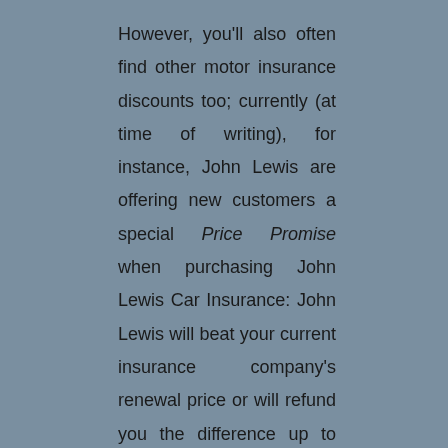However, you'll also often find other motor insurance discounts too; currently (at time of writing), for instance, John Lewis are offering new customers a special Price Promise when purchasing John Lewis Car Insurance: John Lewis will beat your current insurance company's renewal price or will refund you the difference up to £100.